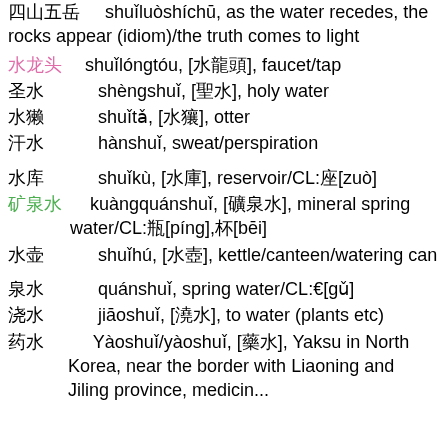shuǐluòshíchū, as the water recedes, the rocks appear (idiom)/the truth comes to light
水龙头  shuǐlóngtóu, [水龍頭], faucet/tap
圣水  shèngshuǐ, [聖水], holy water
水獭  shuǐtǎ, [水獺], otter
汗水  hànshuǐ, sweat/perspiration
水库  shuǐkù, [水庫], reservoir/CL:座[zuò]
矿泉水  kuàngquánshuǐ, [礦泉水], mineral spring water/CL:瓶[píng],杯[bēi]
水壶  shuǐhú, [水壺], kettle/canteen/watering can
泉水  quánshuǐ, spring water/CL:股[gǔ]
浇水  jiāoshuǐ, [澆水], to water (plants etc)
药水  Yàoshuǐ/yàoshuǐ, [藥水], Yaksu in North Korea, near the border with Liaoning and Jiling province, medicin...